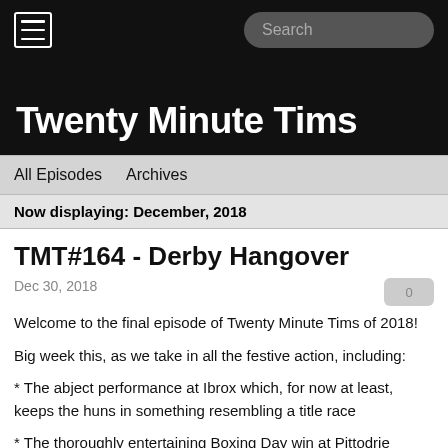Twenty Minute Tims
All Episodes   Archives
Now displaying: December, 2018
TMT#164 - Derby Hangover
Dec 30, 2018
Welcome to the final episode of Twenty Minute Tims of 2018!
Big week this, as we take in all the festive action, including:
* The abject performance at Ibrox which, for now at least, keeps the huns in something resembling a title race
* The thoroughly entertaining Boxing Day win at Pittodrie
* The state of the squad and surgery required as the January Window